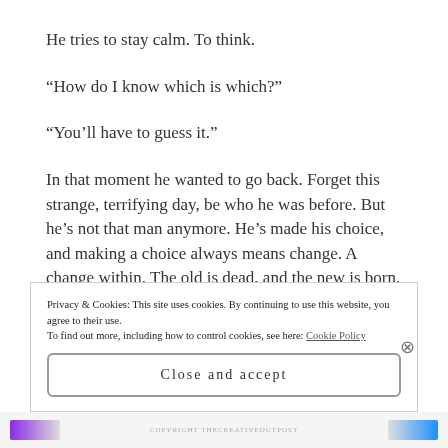He tries to stay calm. To think.
“How do I know which is which?”
“You’ll have to guess it.”
In that moment he wanted to go back. Forget this strange, terrifying day, be who he was before. But he’s not that man anymore. He’s made his choice, and making a choice always means change. A change within. The old is dead, and the new is born.
Privacy & Cookies: This site uses cookies. By continuing to use this website, you agree to their use.
To find out more, including how to control cookies, see here: Cookie Policy
Close and accept